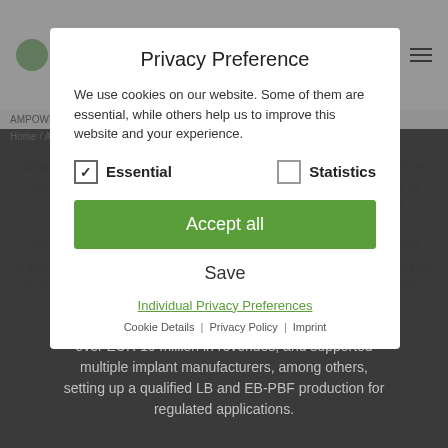[Figure (screenshot): Website background showing AMPOWER logo, navigation, breadcrumb, and article text about Maximilian, partially dimmed behind privacy modal overlay]
Privacy Preference
We use cookies on our website. Some of them are essential, while others help us to improve this website and your experience.
Essential (checked) | Statistics (unchecked)
Accept all
Save
Individual Privacy Preferences
Cookie Details | Privacy Policy | Imprint